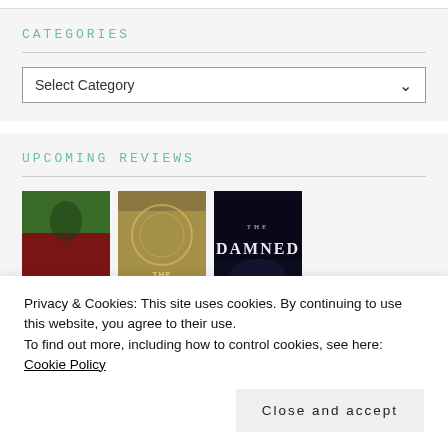CATEGORIES
Select Category
UPCOMING REVIEWS
[Figure (illustration): Three book covers side by side: 'Mexican' (green and red background), 'The Court' (ornate gold design), 'The Damned' (dark background with white text)]
Privacy & Cookies: This site uses cookies. By continuing to use this website, you agree to their use.
To find out more, including how to control cookies, see here: Cookie Policy
Close and accept